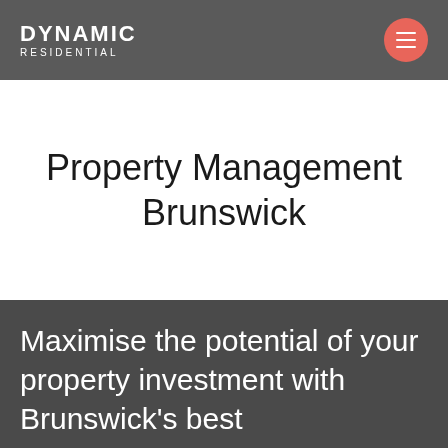DYNAMIC RESIDENTIAL
Property Management Brunswick
Maximise the potential of your property investment with Brunswick's best